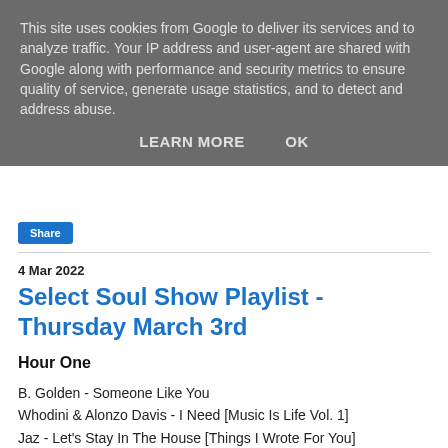This site uses cookies from Google to deliver its services and to analyze traffic. Your IP address and user-agent are shared with Google along with performance and security metrics to ensure quality of service, generate usage statistics, and to detect and address abuse.
LEARN MORE   OK
Share
4 Mar 2022
Select Soul Show Playlist - Thursday March 3rd
Hour One
B. Golden - Someone Like You
Whodini & Alonzo Davis - I Need [Music Is Life Vol. 1]
Jaz - Let's Stay In The House [Things I Wrote For You]
Em-Cee - Fly Away [Honey Coated Hip-Hop [Deluxe Edition]]
Moonchild - Tell Him (Ft. Lalah Hathaway) [Starfruit]
Frade Payne - Just To Be With You